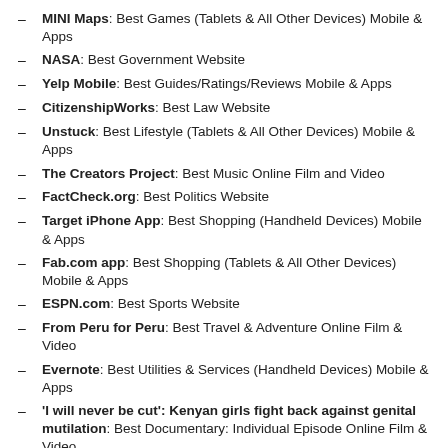MINI Maps: Best Games (Tablets & All Other Devices) Mobile & Apps
NASA: Best Government Website
Yelp Mobile: Best Guides/Ratings/Reviews Mobile & Apps
CitizenshipWorks: Best Law Website
Unstuck: Best Lifestyle (Tablets & All Other Devices) Mobile & Apps
The Creators Project: Best Music Online Film and Video
FactCheck.org: Best Politics Website
Target iPhone App: Best Shopping (Handheld Devices) Mobile & Apps
Fab.com app: Best Shopping (Tablets & All Other Devices) Mobile & Apps
ESPN.com: Best Sports Website
From Peru for Peru: Best Travel & Adventure Online Film & Video
Evernote: Best Utilities & Services (Handheld Devices) Mobile & Apps
'I will never be cut': Kenyan girls fight back against genital mutilation: Best Documentary: Individual Episode Online Film & Video
The VICE Guide To Congo: Best News & Politics: Individual